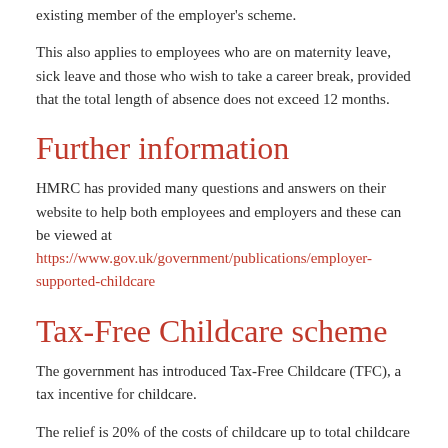existing member of the employer's scheme.
This also applies to employees who are on maternity leave, sick leave and those who wish to take a career break, provided that the total length of absence does not exceed 12 months.
Further information
HMRC has provided many questions and answers on their website to help both employees and employers and these can be viewed at https://www.gov.uk/government/publications/employer-supported-childcare
Tax-Free Childcare scheme
The government has introduced Tax-Free Childcare (TFC), a tax incentive for childcare.
The relief is 20% of the costs of childcare up to total childcare costs of £10,000 per child per year. The scheme will therefore be worth a maximum of £2,000 per child (£4,000 for a